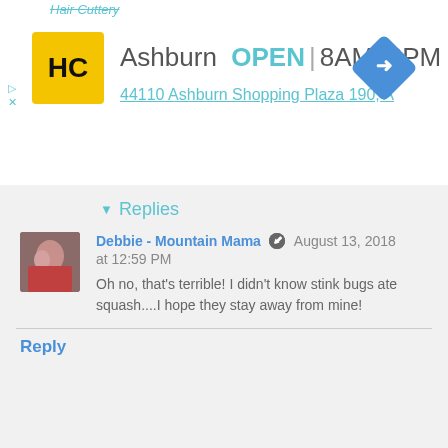[Figure (screenshot): Ad banner for Hair Cuttery showing HC logo, Ashburn location, OPEN 8AM-8PM hours, address 44110 Ashburn Shopping Plaza 190, A, and navigation diamond icon]
Replies
Debbie - Mountain Mama  August 13, 2018 at 12:59 PM
Oh no, that's terrible! I didn't know stink bugs ate squash....I hope they stay away from mine!
Reply
Brenda Pruitt  August 10, 2018 at 11:39 AM
Looking good! Here I am always ahead of you in the gardening phase. My tomatoes have produced and I've eaten many and now they're pretty much dying. As are the cucumbers. They just stop. My peppers of all thing keep producing, but I found I could not eat them. Wouldn't you